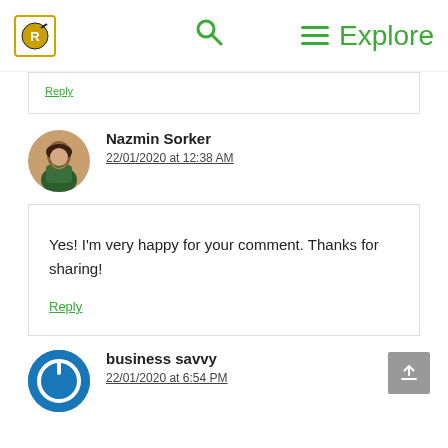Explore
Reply
Nazmin Sorker
22/01/2020 at 12:38 AM
Yes! I'm very happy for your comment. Thanks for sharing!
Reply
business savvy
22/01/2020 at 6:54 PM